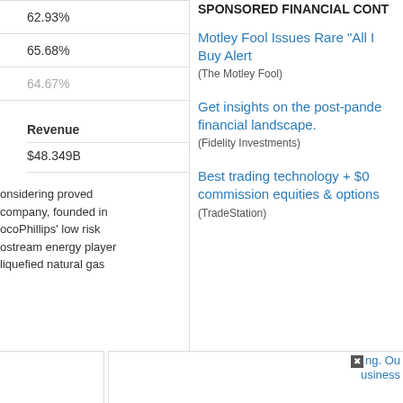| 62.93% |
| 65.68% |
| 64.67% |
| Revenue |
| --- |
| $48.349B |
onsidering proved company, founded in ocoPhillips' low risk ostream energy player liquefied natural gas
SPONSORED FINANCIAL CONT
Motley Fool Issues Rare "All I Buy Alert (The Motley Fool)
Get insights on the post-pande financial landscape. (Fidelity Investments)
Best trading technology + $0 commission equities & options (TradeStation)
ng. Ou usiness